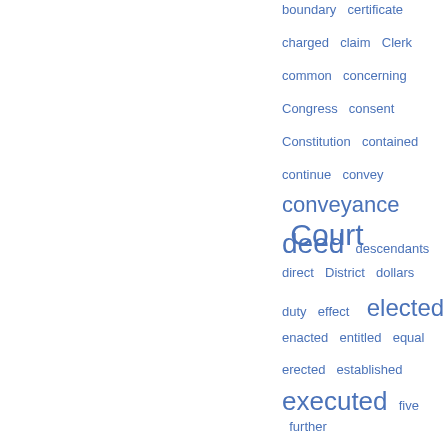[Figure (infographic): Word cloud / tag cloud showing legal terms in varying font sizes in blue. Terms include: boundary, certificate, charged, claim, Clerk, common, concerning, Congress, consent, Constitution, contained, continue, convey, conveyance, Court, deed, descendants, direct, District, dollars, duty, effect, elected, enacted, entitled, equal, erected, established, executed, five, further, Governor, grant, grantor, heirs, held, hold, House, hundred, Illinois, Indiana, inhabitants, inheritance, interest]